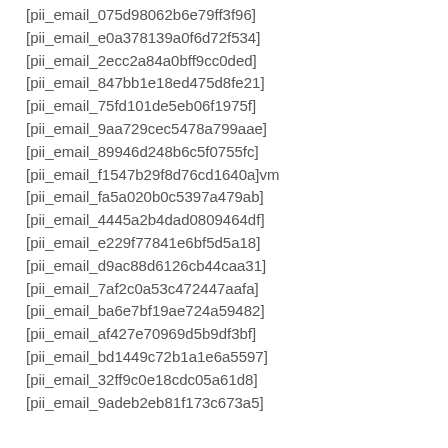[pii_email_075d98062b6e79ff3f96]
[pii_email_e0a378139a0f6d72f534]
[pii_email_2ecc2a84a0bff9cc0ded]
[pii_email_847bb1e18ed475d8fe21]
[pii_email_75fd101de5eb06f1975f]
[pii_email_9aa729cec5478a799aae]
[pii_email_89946d248b6c5f0755fc]
[pii_email_f1547b29f8d76cd1640a]vm
[pii_email_fa5a020b0c5397a479ab]
[pii_email_4445a2b4dad0809464df]
[pii_email_e229f77841e6bf5d5a18]
[pii_email_d9ac88d6126cb44caa31]
[pii_email_7af2c0a53c472447aafa]
[pii_email_ba6e7bf19ae724a59482]
[pii_email_af427e70969d5b9df3bf]
[pii_email_bd1449c72b1a1e6a5597]
[pii_email_32ff9c0e18cdc05a61d8]
[pii_email_9adeb2eb81f173c673a5]